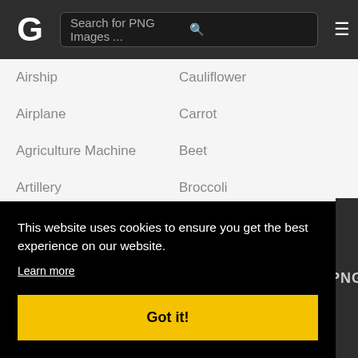[Figure (screenshot): Website header with G logo, search bar reading 'Search for PNG Images...', and hamburger menu icon on dark background]
Airship
Cauliflower
Airplane
Carrot
Agriculture Machine
Beet
Artillery
Broccoli
Audi Logo
Soybean
Accident
Pepper
Air Balloon
Pumpkin
This website uses cookies to ensure you get the best experience on our website.
Learn more
Got it!
PNG